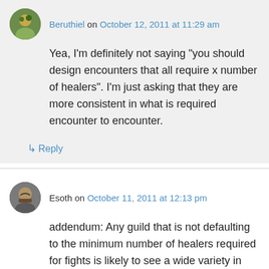Beruthiel on October 12, 2011 at 11:29 am
Yea, I'm definitely not saying "you should design encounters that all require x number of healers". I'm just asking that they are more consistent in what is required encounter to encounter.
↳ Reply
Esoth on October 11, 2011 at 12:13 pm
addendum: Any guild that is not defaulting to the minimum number of healers required for fights is likely to see a wide variety in healers used per fight when they are forced to cut down on healers for tougher DPS requirements. If all